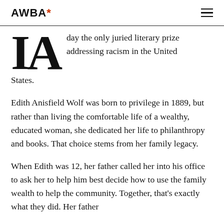AWBA*
day the only juried literary prize addressing racism in the United States.
Edith Anisfield Wolf was born to privilege in 1889, but rather than living the comfortable life of a wealthy, educated woman, she dedicated her life to philanthropy and books. That choice stems from her family legacy.
When Edith was 12, her father called her into his office to ask her to help him best decide how to use the family wealth to help the community. Together, that's exactly what they did. Her father